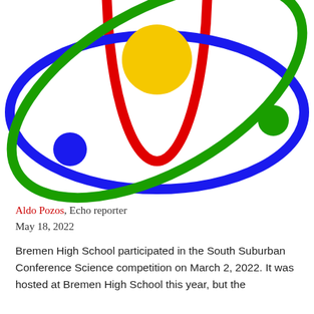[Figure (illustration): Atom diagram illustration with three elliptical orbits in red, blue, and green colors crossing each other. A yellow circle in the center represents the nucleus. A blue dot on the left orbit, a green dot on the right orbit, and the red orbit forms a vertical ellipse. The image is cropped showing roughly the bottom two-thirds of the atom.]
Aldo Pozos, Echo reporter
May 18, 2022
Bremen High School participated in the South Suburban Conference Science competition on March 2, 2022. It was hosted at Bremen High School this year, but the